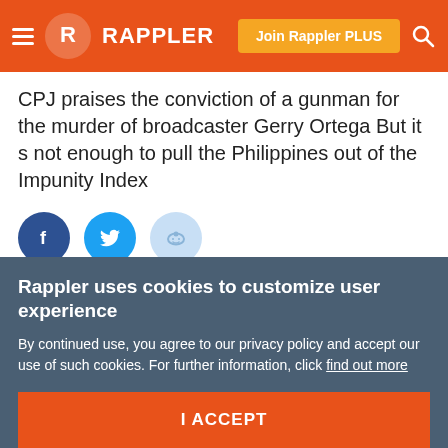Rappler
CPJ praises the conviction of a gunman for the murder of broadcaster Gerry Ortega But it s not enough to pull the Philippines out of the Impunity Index
[Figure (illustration): Social share buttons: Facebook (dark blue circle), Twitter (light blue circle), Reddit (light blue circle)]
[Figure (photo): Black and white photo with a red map shape overlay showing a region of the Philippines]
Rappler uses cookies to customize user experience
By continued use, you agree to our privacy policy and accept our use of such cookies. For further information, click find out more
I ACCEPT